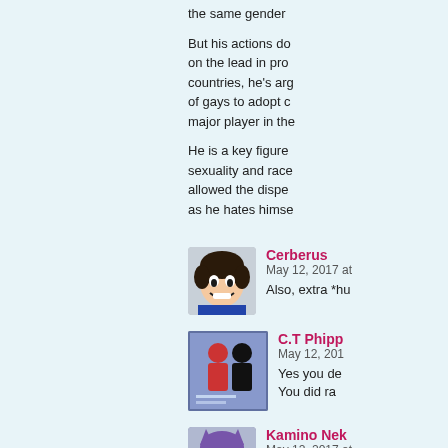the same gender
But his actions do on the lead in pro countries, he's arg of gays to adopt c major player in the
He is a key figure sexuality and race allowed the dispe as he hates himse
Cerberus
May 12, 2017 at
Also, extra *hu
C.T Phipp
May 12, 201
Yes you de
You did ra
Kamino Nek
May 12, 2017 at